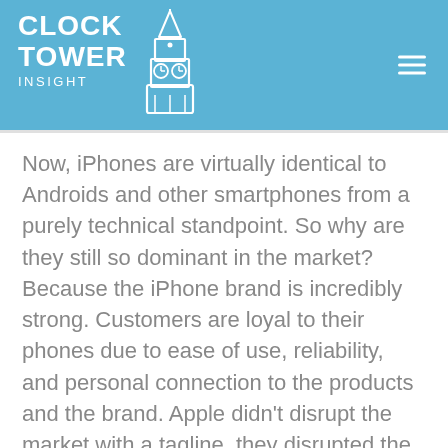CLOCK TOWER INSIGHT
Now, iPhones are virtually identical to Androids and other smartphones from a purely technical standpoint. So why are they still so dominant in the market? Because the iPhone brand is incredibly strong. Customers are loyal to their phones due to ease of use, reliability, and personal connection to the products and the brand. Apple didn't disrupt the market with a tagline, they disrupted the market by delivering what their consumers wanted.